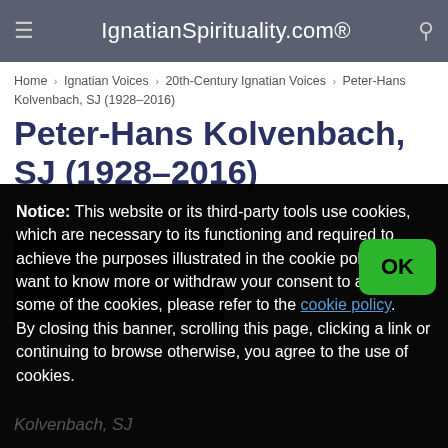IgnatianSpirituality.com®
Home › Ignatian Voices › 20th-Century Ignatian Voices › Peter-Hans Kolvenbach, SJ (1928–2016)
Peter-Hans Kolvenbach, SJ (1928–2016)
[Figure (photo): Dark photograph of Peter-Hans Kolvenbach]
Notice: This website or its third-party tools use cookies, which are necessary to its functioning and required to achieve the purposes illustrated in the cookie policy. If you want to know more or withdraw your consent to all or some of the cookies, please refer to the cookie policy.
By closing this banner, scrolling this page, clicking a link or continuing to browse otherwise, you agree to the use of cookies.